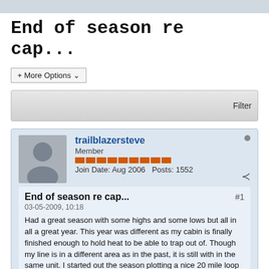End of season re cap...
+ More Options
Filter
trailblazersteve
Member
Join Date: Aug 2006   Posts: 1552
End of season re cap...
03-05-2009, 10:18
Had a great season with some highs and some lows but all in all a great year. This year was different as my cabin is finally finished enough to hold heat to be able to trap out of. Though my line is in a different area as in the past, it is still with in the same unit. I started out the season plotting a nice 20 mile loop from my cabin and